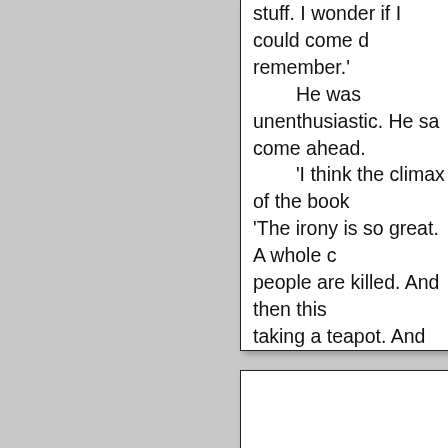stuff. I wonder if I could come d remember.' He was unenthusiastic. He sa come ahead. 'I think the climax of the book 'The irony is so great. A whole c people are killed. And then this taking a teapot. And he's given a 'Um,' said O'Hare. 'Don't you think that's really w about it,' he said. 'That's your tr